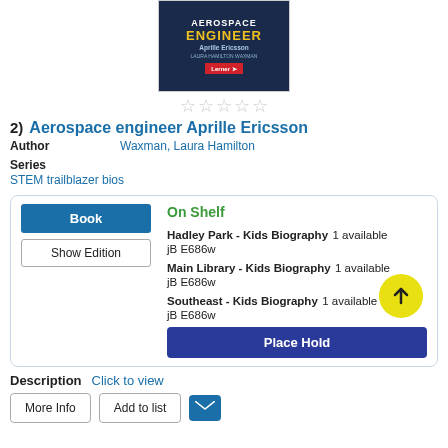[Figure (photo): Book cover: Aerospace Engineer Aprille Ericsson, by Laura Hamilton Waxman, Lerner publisher. Dark blue background with yellow title text.]
[Figure (other): Five empty star rating icons (no stars filled)]
2)  Aerospace engineer Aprille Ericsson
Author   Waxman, Laura Hamilton
Series
STEM trailblazer bios
Book  On Shelf
Show Edition
Hadley Park - Kids Biography  1 available
jB E686w
Main Library - Kids Biography  1 available
jB E686w
Southeast - Kids Biography  1 available
jB E686w
Place Hold
Description   Click to view
More Info   Add to list